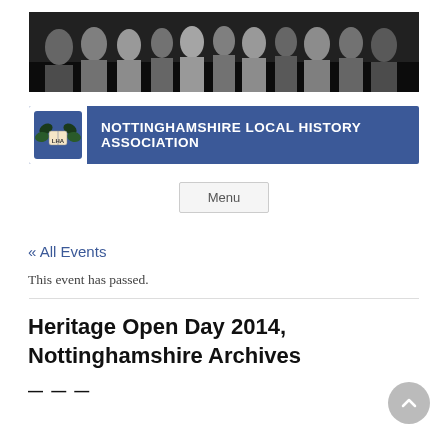[Figure (photo): Black and white photograph banner showing a group of children posed together, historical image]
[Figure (logo): Nottinghamshire Local History Association logo bar — blue banner with white emblem on left and text NOTTINGHAMSHIRE LOCAL HISTORY ASSOCIATION in white bold capitals]
Menu
« All Events
This event has passed.
Heritage Open Day 2014, Nottinghamshire Archives